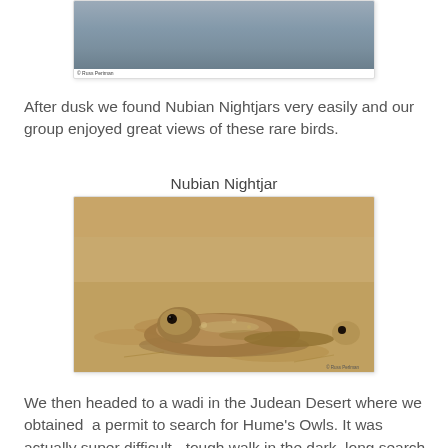[Figure (photo): Partial photo of a bird or landscape, showing a grey-blue sky/horizon — top portion only visible, cropped at top of page. Copyright watermark visible bottom left.]
After dusk we found Nubian Nightjars very easily and our group enjoyed great views of these rare birds.
Nubian Nightjar
[Figure (photo): A Nubian Nightjar resting on sandy/rocky ground at night. The bird is cryptically patterned in sandy-brown tones. A second bird is partially visible in the background right. Copyright watermark visible in bottom right corner.]
We then headed to a wadi in the Judean Desert where we obtained  a permit to search for Hume's Owls. It was actually super difficult - tough walk in the dark, long search,